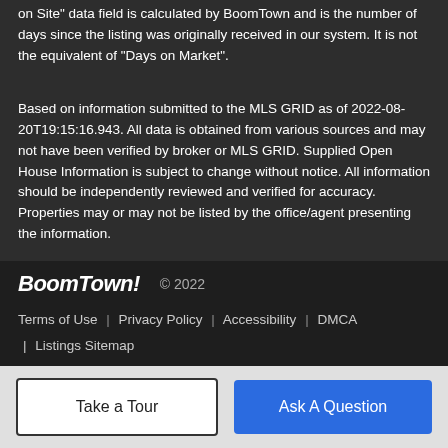on Site" data field is calculated by BoomTown and is the number of days since the listing was originally received in our system. It is not the equivalent of "Days on Market".
Based on information submitted to the MLS GRID as of 2022-08-20T19:15:16.943. All data is obtained from various sources and may not have been verified by broker or MLS GRID. Supplied Open House Information is subject to change without notice. All information should be independently reviewed and verified for accuracy. Properties may or may not be listed by the office/agent presenting the information.
BoomTown! © 2022 Terms of Use | Privacy Policy | Accessibility | DMCA | Listings Sitemap
Take a Tour | Ask A Question